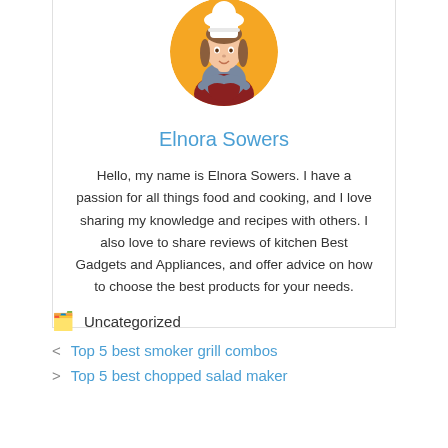[Figure (illustration): Circular avatar illustration of a female chef with a white chef's hat, braided hair, and a dark red apron, on an orange circle background.]
Elnora Sowers
Hello, my name is Elnora Sowers. I have a passion for all things food and cooking, and I love sharing my knowledge and recipes with others. I also love to share reviews of kitchen Best Gadgets and Appliances, and offer advice on how to choose the best products for your needs.
Uncategorized
Top 5 best smoker grill combos
Top 5 best chopped salad maker